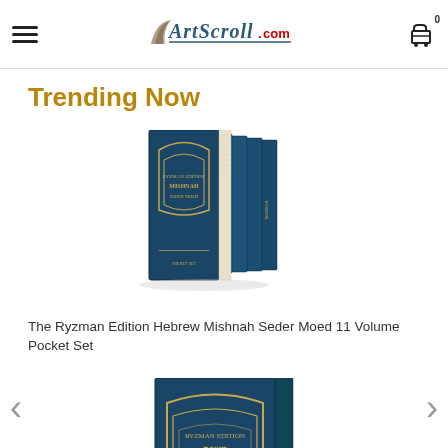ArtScroll.com
Trending Now
[Figure (photo): Stack of The Ryzman Edition Hebrew Mishnah Seder Moed 11 Volume Pocket Set books shown from an angle, all in dark blue with gold lettering]
The Ryzman Edition Hebrew Mishnah Seder Moed 11 Volume Pocket Set
[Figure (photo): Single volume of the Ryzman Edition Hebrew Mishnah, upright, dark blue cover with gold embossed text and decorative arch design]